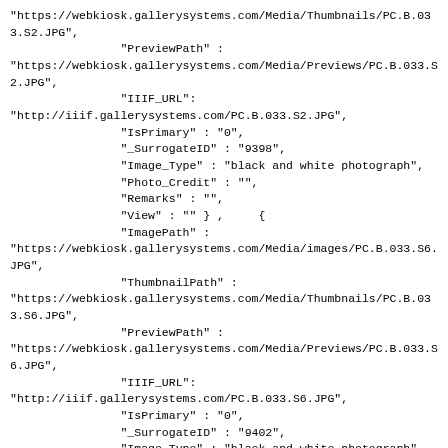"https://webkiosk.gallerysystems.com/Media/Thumbnails/PC.B.033.S2.JPG",
                "PreviewPath" :
"https://webkiosk.gallerysystems.com/Media/Previews/PC.B.033.S2.JPG",
                "IIIF_URL":
"http://iiif.gallerysystems.com/PC.B.033.S2.JPG",
                "IsPrimary" : "0",
                "_SurrogateID" : "9398",
                "Image_Type" : "black and white photograph",
                "Photo_Credit" : "",
                "Remarks" : "",
                "View" : "" } ,     {
                "ImagePath" :
"https://webkiosk.gallerysystems.com/Media/images/PC.B.033.S6.JPG",
                "ThumbnailPath" :
"https://webkiosk.gallerysystems.com/Media/Thumbnails/PC.B.033.S6.JPG",
                "PreviewPath" :
"https://webkiosk.gallerysystems.com/Media/Previews/PC.B.033.S6.JPG",
                "IIIF_URL":
"http://iiif.gallerysystems.com/PC.B.033.S6.JPG",
                "IsPrimary" : "0",
                "_SurrogateID" : "9402",
                "Image_Type" : "black and white photograph",
                "Photo_Credit" : "",